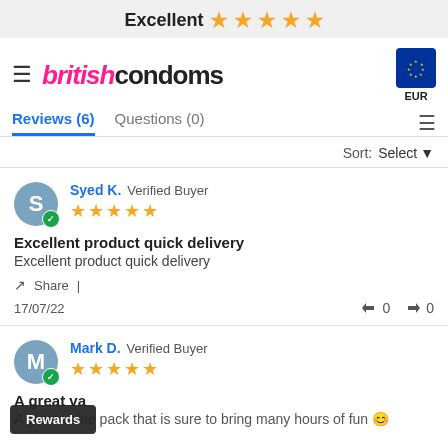Excellent ★★★★★
[Figure (logo): britishcondoms logo with hamburger menu on left and EU flag EUR selector on right]
Reviews (6)  Questions (0)
Sort: Select
Syed K. Verified Buyer ★★★★★
Excellent product quick delivery
Excellent product quick delivery
Share
17/07/22  👍 0  👎 0
Mark D. Verified Buyer ★★★★★
A great value pack that
A great value pack that is sure to bring many hours of fun
Rewards